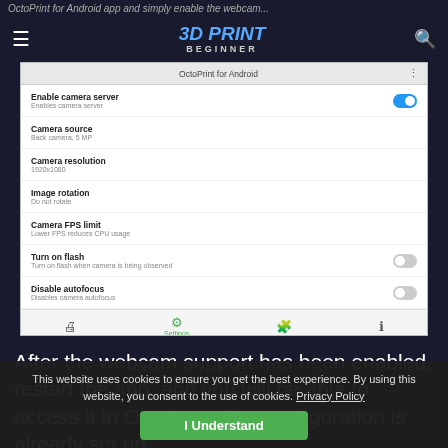3D Print Beginner
[Figure (screenshot): OctoPrint for Android app settings screen showing camera server options: Enable camera server (toggled on), Camera source (Back camera, 5 MP), Camera resolution (1920x1080), Image rotation (Do not rotate), Camera FPS limit (Lower FPS reduces CPU usage), Turn on flash (toggled off), Disable autofocus (toggled off). Bottom navigation bar with printer, settings (active), plugins, and info icons. Android navigation bar at bottom.]
After the webcam support has been enabled, restart the app, and you will be able to access it in OctoPrint. The configuration is already set up.
This website uses cookies to ensure you get the best experience. By using this website, you consent to the use of cookies. Privacy Policy
I Understand